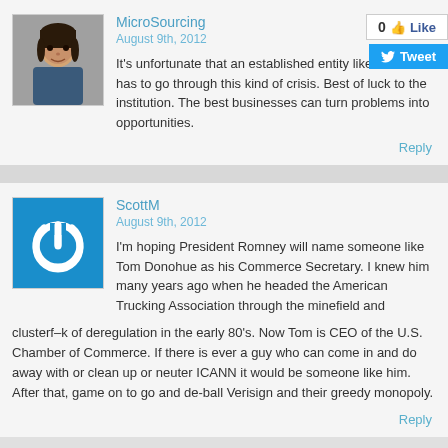MicroSourcing
August 9th, 2012
It's unfortunate that an established entity like ICANN has to go through this kind of crisis. Best of luck to the institution. The best businesses can turn problems into opportunities.
Reply
ScottM
August 9th, 2012
I'm hoping President Romney will name someone like Tom Donohue as his Commerce Secretary. I knew him many years ago when he headed the American Trucking Association through the minefield and clusterf–k of deregulation in the early 80's. Now Tom is CEO of the U.S. Chamber of Commerce. If there is ever a guy who can come in and do away with or clean up or neuter ICANN it would be someone like him. After that, game on to go and de-ball Verisign and their greedy monopoly.
Reply